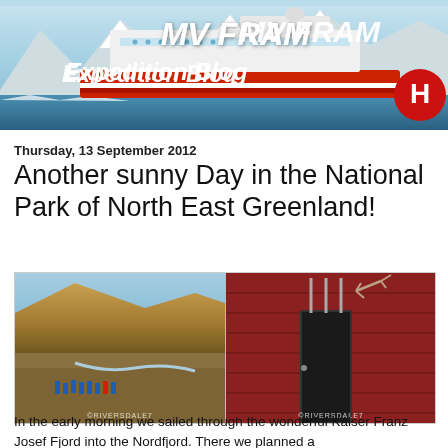[Figure (photo): MV FRAM Expedition Blog banner showing a red and white cruise ship against snowy mountains and blue sky, with the text 'MV FRAM' and 'Expedition Blog' overlaid, and the Hurtigruten logo (red circle with H symbol) in the bottom right of the banner]
Thursday, 13 September 2012
Another sunny Day in the National Park of North East Greenland!
[Figure (photo): Group of people in blue jackets hiking across a barren arctic landscape with brown/sandy mountains in the background, watermark ©RIVERSDALE7]
[Figure (photo): Close-up of a red wooden building door with antlers mounted above it, watermark ©RIVERSDALE7]
In the early morning we sailed through the wonderful Kaiser Franz Josef Fjord into the Nordfjord. There we planned a